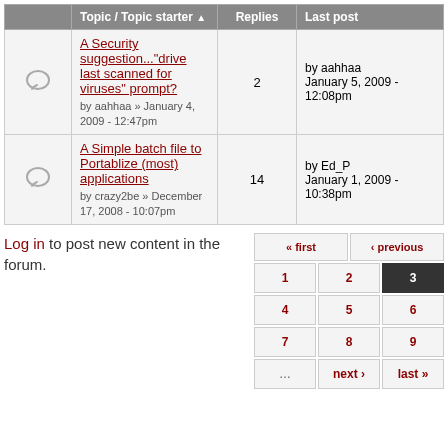|  | Topic / Topic starter | Replies | Last post |
| --- | --- | --- | --- |
| [icon] | A Security suggestion..."drive last scanned for viruses" prompt?
by aahhaa » January 4, 2009 - 12:47pm | 2 | by aahhaa
January 5, 2009 - 12:08pm |
| [icon] | A Simple batch file to Portablize (most) applications
by crazy2be » December 17, 2008 - 10:07pm | 14 | by Ed_P
January 1, 2009 - 10:38pm |
Log in to post new content in the forum.
« first ‹ previous 1 2 3 4 5 6 7 8 9 ... next › last »